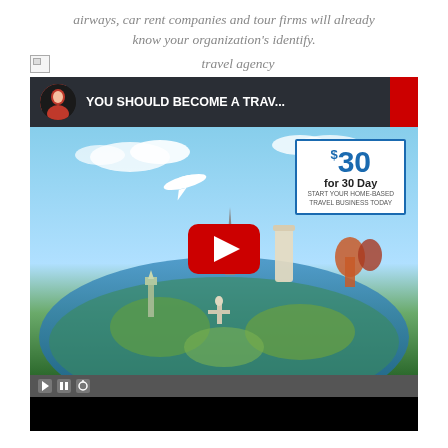airways, car rent companies and tour firms will already know your organization's identify.
travel agency
[Figure (screenshot): YouTube video thumbnail showing 'YOU SHOULD BECOME A TRAV...' with a travel agency promotional video. Features a globe with world landmarks (Statue of Liberty, Eiffel Tower, etc.), airplanes, and a price offer of $30 for 30 Day to start a home-based travel business. Red YouTube play button in center.]